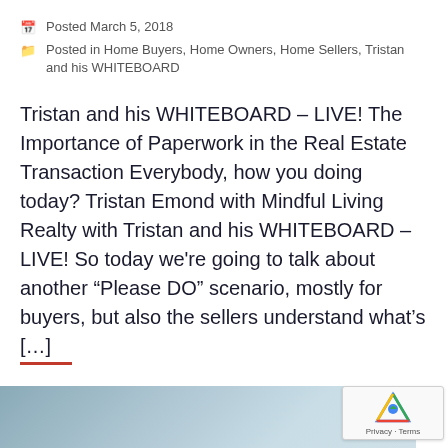Posted March 5, 2018
Posted in Home Buyers, Home Owners, Home Sellers, Tristan and his WHITEBOARD
Tristan and his WHITEBOARD – LIVE! The Importance of Paperwork in the Real Estate Transaction Everybody, how you doing today? Tristan Emond with Mindful Living Realty with Tristan and his WHITEBOARD – LIVE! So today we're going to talk about another “Please DO” scenario, mostly for buyers, but also the sellers understand what’s […]
[Figure (photo): Partial view of a blue-grey background image at the bottom of the page, with a reCAPTCHA badge overlay in the bottom right corner]